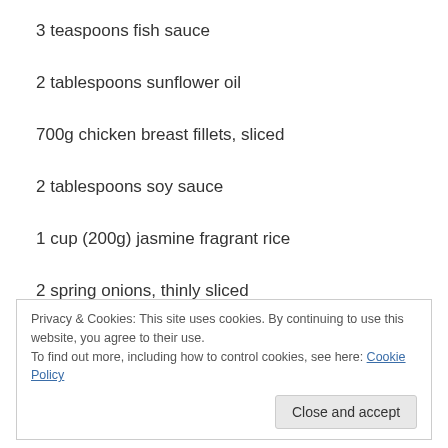3 teaspoons fish sauce
2 tablespoons sunflower oil
700g chicken breast fillets, sliced
2 tablespoons soy sauce
1 cup (200g) jasmine fragrant rice
2 spring onions, thinly sliced
1/2 cup Thai basil leaves, roughly chopped
Privacy & Cookies: This site uses cookies. By continuing to use this website, you agree to their use.
To find out more, including how to control cookies, see here: Cookie Policy